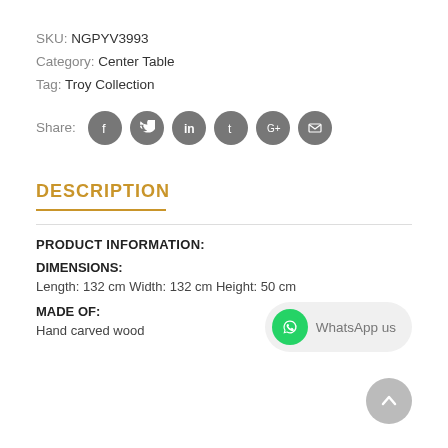SKU: NGPYV3993
Category: Center Table
Tag: Troy Collection
Share: [social icons: facebook, twitter, linkedin, tumblr, google+, email]
DESCRIPTION
PRODUCT INFORMATION:
DIMENSIONS:
Length: 132 cm Width: 132 cm Height: 50 cm
MADE OF:
Hand carved wood